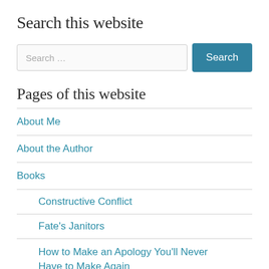Search this website
[Figure (screenshot): Search input field with placeholder 'Search ...' and a teal 'Search' button]
Pages of this website
About Me
About the Author
Books
Constructive Conflict
Fate's Janitors
How to Make an Apology You'll Never Have to Make Again